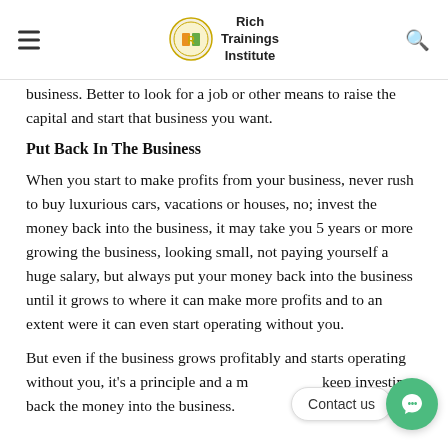Rich Trainings Institute
business. Better to look for a job or other means to raise the capital and start that business you want.
Put Back In The Business
When you start to make profits from your business, never rush to buy luxurious cars, vacations or houses, no; invest the money back into the business, it may take you 5 years or more growing the business, looking small, not paying yourself a huge salary, but always put your money back into the business until it grows to where it can make more profits and to an extent were it can even start operating without you.
But even if the business grows profitably and starts operating without you, it's a principle and a must to keep investing back the money into the business.